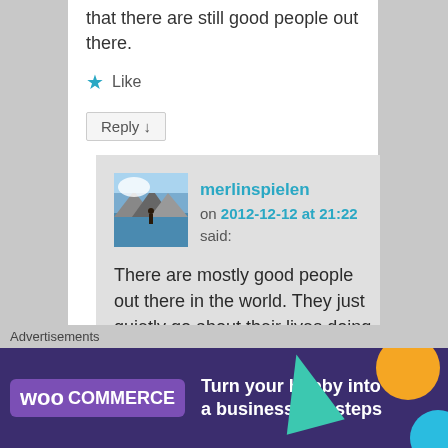that there are still good people out there.
★ Like
Reply ↓
merlinspielen on 2012-12-12 at 21:22 said:
There are mostly good people out there in the world. They just quietly go about their lives doing what needs to be done. And that is why the bad
Advertisements
[Figure (screenshot): WooCommerce advertisement banner: dark purple background with WooCommerce logo, teal triangle, orange circle, blue circle shapes, and text 'Turn your hobby into a business in 8 steps']